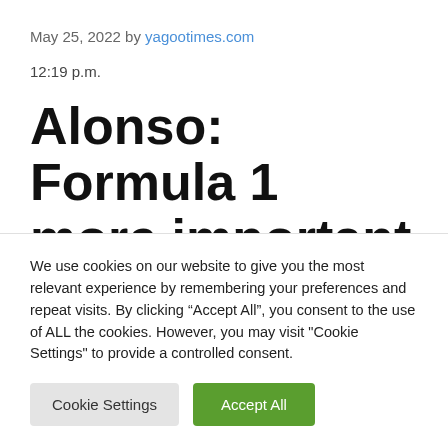May 25, 2022 by yagootimes.com
12:19 p.m.
Alonso: Formula 1 more important than Triple Crown
We use cookies on our website to give you the most relevant experience by remembering your preferences and repeat visits. By clicking “Accept All”, you consent to the use of ALL the cookies. However, you may visit "Cookie Settings" to provide a controlled consent.